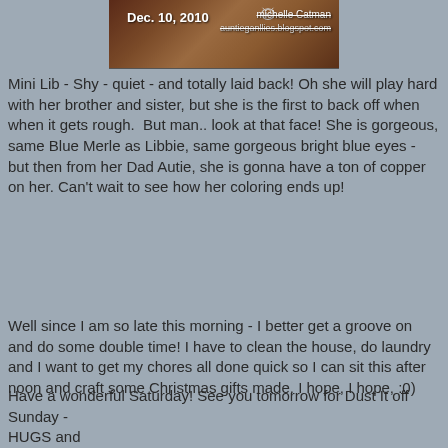[Figure (photo): Blog header photo with date Dec. 10, 2010 and author name Michelle Catman with blog URL auntieganllies.blogspot.com]
Mini Lib - Shy - quiet - and totally laid back! Oh she will play hard with her brother and sister, but she is the first to back off when when it gets rough.  But man.. look at that face! She is gorgeous, same Blue Merle as Libbie, same gorgeous bright blue eyes - but then from her Dad Autie, she is gonna have a ton of copper on her. Can't wait to see how her coloring ends up!
Well since I am so late this morning - I better get a groove on and do some double time! I have to clean the house, do laundry and I want to get my chores all done quick so I can sit this after noon and craft some Christmas gifts made. I hope, I hope, :0)
Have a wonderful Saturday! See you tomorrow for Dust It off Sunday -
HUGS and